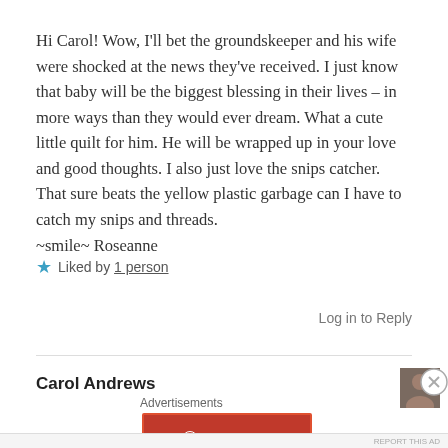Hi Carol! Wow, I'll bet the groundskeeper and his wife were shocked at the news they've received. I just know that baby will be the biggest blessing in their lives – in more ways than they would ever dream. What a cute little quilt for him. He will be wrapped up in your love and good thoughts. I also just love the snips catcher. That sure beats the yellow plastic garbage can I have to catch my snips and threads. ~smile~ Roseanne
★ Liked by 1 person
Log in to Reply
Carol Andrews
Advertisements
[Figure (other): Longreads advertisement banner: red background with Longreads logo and text 'The best stories on the web — ours, and everyone else's.']
REPORT THIS AD